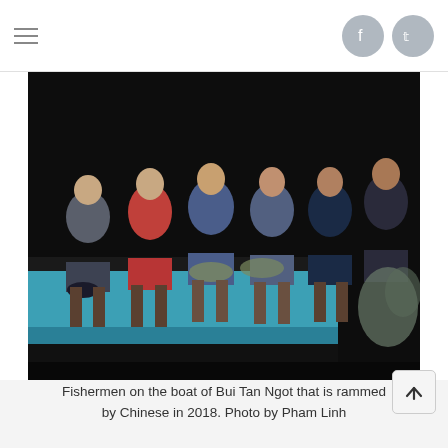[Figure (photo): Six Vietnamese fishermen sitting side by side on the edge of a fishing boat at night. The boat has a blue hull. Some fishermen hold hats. Background is dark.]
Fishermen on the boat of Bui Tan Ngot that is rammed by Chinese in 2018. Photo by Pham Linh
"I've been sailing for almost 20 years. There was a time when Vietnamese and Chinese fishing boats worked side by side with no problems," he said.
"We've always thought of Hoang Sa as something